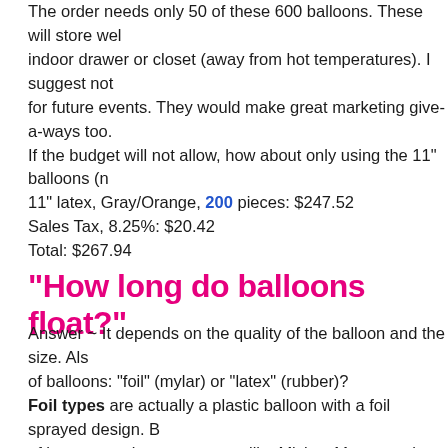The order needs only 50 of these 600 balloons. These will store well in an indoor drawer or closet (away from hot temperatures). I suggest not to for future events. They would make great marketing give-a-ways too. If the budget will not allow, how about only using the 11" balloons (no 11" latex, Gray/Orange, 200 pieces: $247.52
Sales Tax, 8.25%: $20.42
Total: $267.94
"How long do balloons float?"
Answer ~ It depends on the quality of the balloon and the size. Also of balloons: "foil" (mylar) or "latex" (rubber)?
Foil types are actually a plastic balloon with a foil sprayed design. of heart, round, star; cartoons like Mickey Mouse and Superman; be flowers, butterflies; message; theme, etc. Float-time: about 3+ days and you can re-fill it! When it gets soft, you can add air from your lu straw through the valve about 4". As you are doing this, place a thu straw (so the helium doesn't escape)...then quickly remove your thu your lips and blow. Once full, replace your lips with the thumb again the straw. Voila! Like magic...looks new! You can use the straw to d store these in a drawer or closet (no hot temperature)...reuse them 
Latex types are natural and biodegrade as fast as a leaf or wood ch and the helium quickly begins to escape from all surfaces. The ball